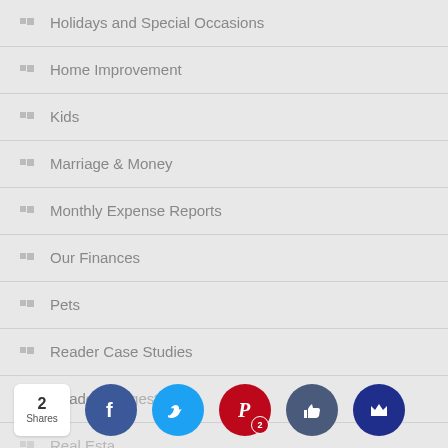Holidays and Special Occasions
Home Improvement
Kids
Marriage & Money
Monthly Expense Reports
Our Finances
Pets
Reader Case Studies
Reader Suggestions
Real Esta…